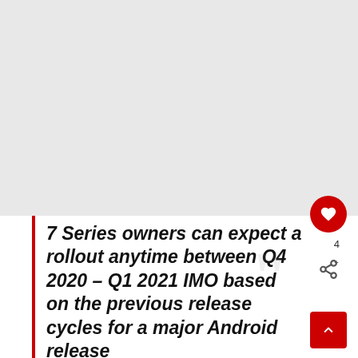[Figure (screenshot): White/light grey image area at top of page (approximately top 60% of page), likely a photo or article image placeholder]
7 Series owners can expect a rollout anytime between Q4 2020 – Q1 2021 IMO based on the previous release cycles for a major Android release